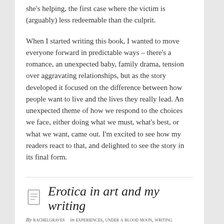she's helping, the first case where the victim is (arguably) less redeemable than the culprit.
When I started writing this book, I wanted to move everyone forward in predictable ways – there's a romance, an unexpected baby, family drama, tension over aggravating relationships, but as the story developed it focused on the difference between how people want to live and the lives they really lead. An unexpected theme of how we respond to the choices we face, either doing what we must, what's best, or what we want, came out. I'm excited to see how my readers react to that, and delighted to see the story in its final form.
Erotica in art and my writing
By rachelgraves   in Experiences, Under a Blood Moon, Writing
No Comments   Tags: books, Research Road Trips, writing
The news came just before a big vacation, a once-in-a-lifetime trip. After three years of planning and saving, suddenly all I could